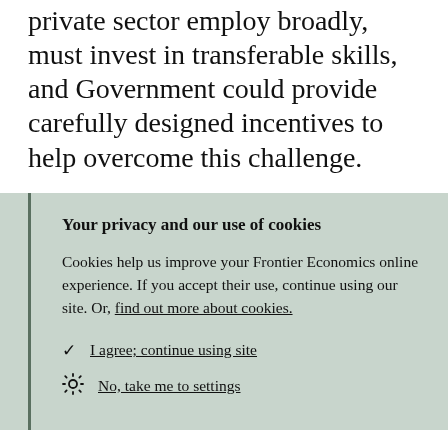private sector employ broadly, must invest in transferable skills, and Government could provide carefully designed incentives to help overcome this challenge.
Your privacy and our use of cookies
Cookies help us improve your Frontier Economics online experience. If you accept their use, continue using our site. Or, find out more about cookies.
✓ I agree; continue using site
⚙ No, take me to settings